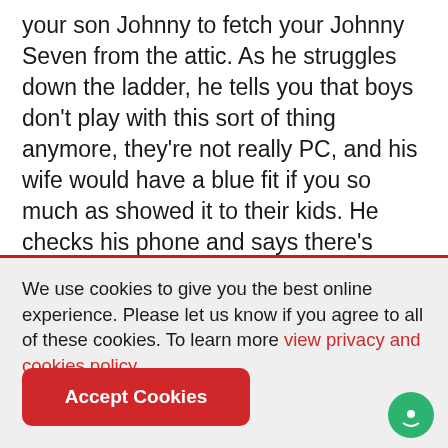your son Johnny to fetch your Johnny Seven from the attic. As he struggles down the ladder, he tells you that boys don't play with this sort of thing anymore, they're not really PC, and his wife would have a blue fit if you so much as showed it to their kids. He checks his phone and says there's someone on eBay asking eight hundred for a boxed one, collection only, from Clacton. You say you
We use cookies to give you the best online experience. Please let us know if you agree to all of these cookies. To learn more view privacy and cookies policy.
Accept Cookies